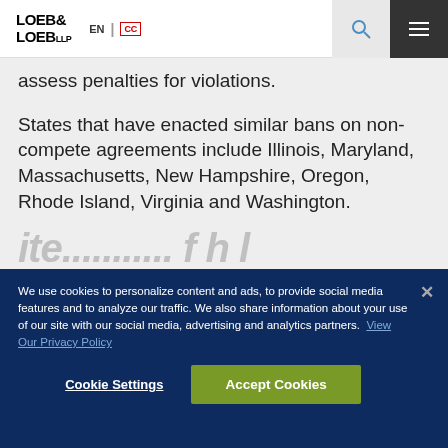LOEB & LOEB LLP | EN | [CC]
assess penalties for violations.
States that have enacted similar bans on non-compete agreements include Illinois, Maryland, Massachusetts, New Hampshire, Oregon, Rhode Island, Virginia and Washington.
We use cookies to personalize content and ads, to provide social media features and to analyze our traffic. We also share information about your use of our site with our social media, advertising and analytics partners. View Our Privacy Policy
Cookie Settings
Accept Cookies